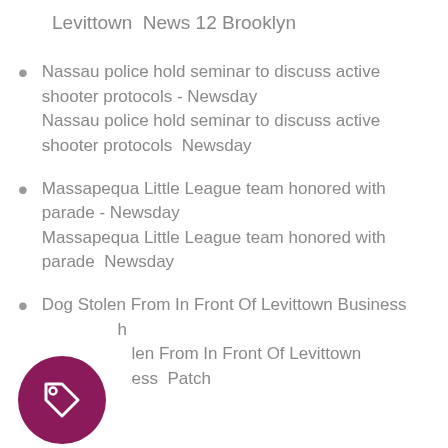Levittown  News 12 Brooklyn
Nassau police hold seminar to discuss active shooter protocols - Newsday
Nassau police hold seminar to discuss active shooter protocols  Newsday
Massapequa Little League team honored with parade - Newsday
Massapequa Little League team honored with parade  Newsday
Dog Stolen From In Front Of Levittown Business
...len From In Front Of Levittown ...ess  Patch
[Figure (illustration): Dark magenta/purple circle with a white price tag icon in the center]